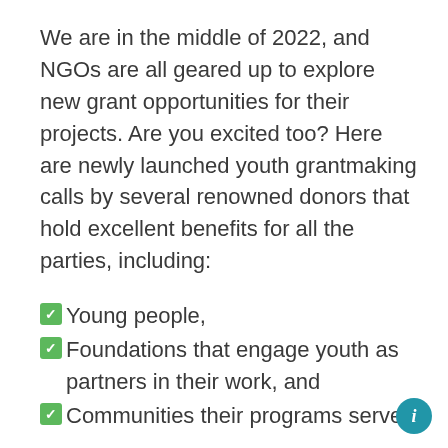We are in the middle of 2022, and NGOs are all geared up to explore new grant opportunities for their projects. Are you excited too? Here are newly launched youth grantmaking calls by several renowned donors that hold excellent benefits for all the parties, including:
Young people,
Foundations that engage youth as partners in their work, and
Communities their programs serve.